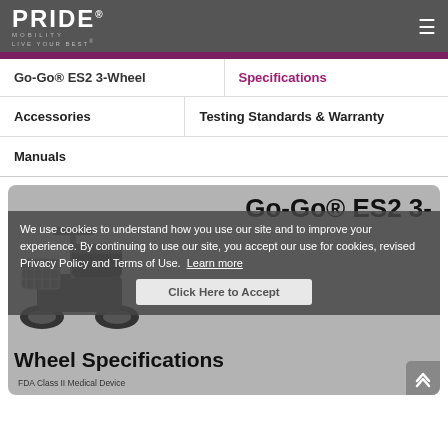PRIDE MOBILITY - LIVE YOUR BEST
Go-Go® ES2 3-Wheel
Specifications
Accessories
Testing Standards & Warranty
Manuals
[Figure (photo): Go-Go ES2 3-wheel mobility scooter product photo with cookie consent overlay. Title reads: Go-Go® ES2 3-Wheel Specifications. Cookie notice: We use cookies to understand how you use our site and to improve your experience. By continuing to use our site, you accept our use for cookies, revised Privacy Policy and Terms of Use. Learn more. Button: Click Here to Accept. FDA Class II Medical Device.]
We use cookies to understand how you use our site and to improve your experience. By continuing to use our site, you accept our use for cookies, revised Privacy Policy and Terms of Use. Learn more.
Click Here to Accept
FDA Class II Medical Device